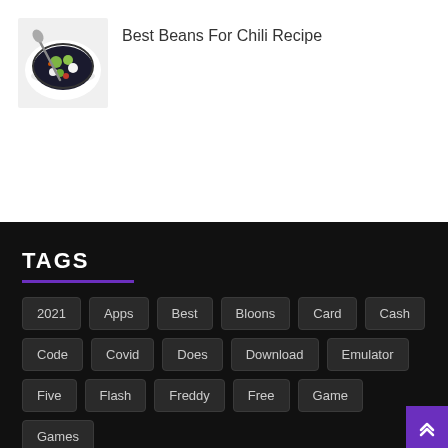[Figure (photo): A bowl of chili with toppings including cheese and greens, viewed from above on a white background]
Best Beans For Chili Recipe
TAGS
2021
Apps
Best
Bloons
Card
Cash
Code
Covid
Does
Download
Emulator
Five
Flash
Freddy
Free
Game
Games